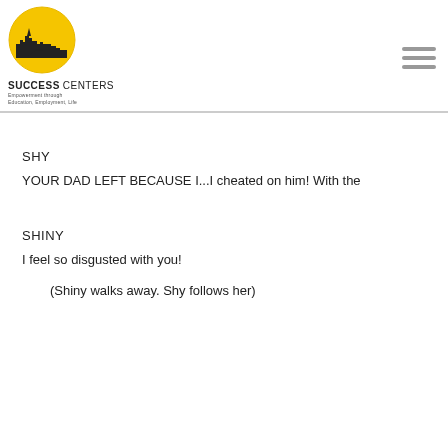[Figure (logo): Success Centers logo: yellow circle with city skyline silhouette and bridge, text reading SUCCESS CENTERS with tagline 'Empowerment through Education, Employment, Life']
SHY
YOUR DAD LEFT BECAUSE I...I cheated on him! With the
SHINY
I feel so disgusted with you!
(Shiny walks away. Shy follows her)